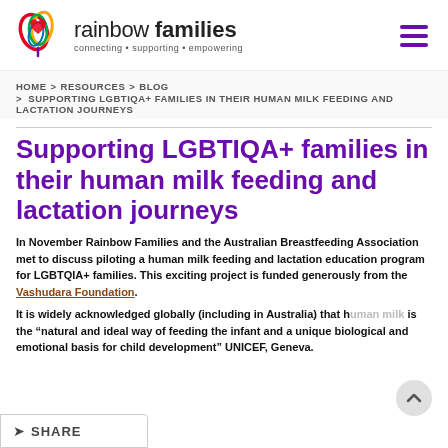[Figure (logo): Rainbow Families logo with colourful leaf/teardrop icon and text 'rainbow families - connecting • supporting • empowering']
HOME > RESOURCES > BLOG > SUPPORTING LGBTIQA+ FAMILIES IN THEIR HUMAN MILK FEEDING AND LACTATION JOURNEYS
Supporting LGBTIQA+ families in their human milk feeding and lactation journeys
In November Rainbow Families and the Australian Breastfeeding Association met to discuss piloting a human milk feeding and lactation education program for LGBTQIA+ families. This exciting project is funded generously from the Vashudara Foundation.
It is widely acknowledged globally (including in Australia) that human milk is the "natural and ideal way of feeding the infant and a unique biological and emotional basis for child development" UNICEF, Geneva.